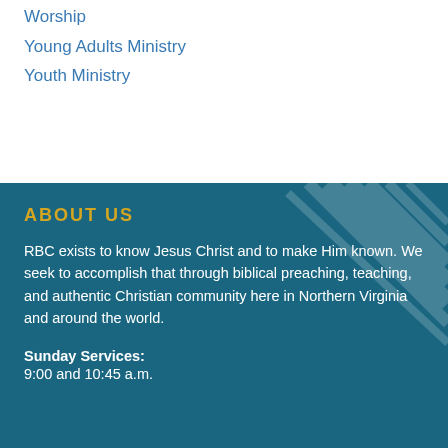Worship
Young Adults Ministry
Youth Ministry
ABOUT US
RBC exists to know Jesus Christ and to make Him known. We seek to accomplish that through biblical preaching, teaching, and authentic Christian community here in Northern Virginia and around the world.
Sunday Services:
9:00 and 10:45 a.m.